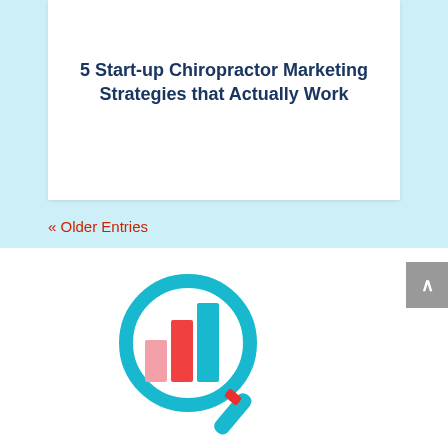5 Start-up Chiropractor Marketing Strategies that Actually Work
« Older Entries
[Figure (illustration): Magnifying glass icon containing a colorful bar chart with pink and red-orange bars on the left and a teal/cyan bar on the right, with a teal handle. Represents analytics or marketing metrics.]